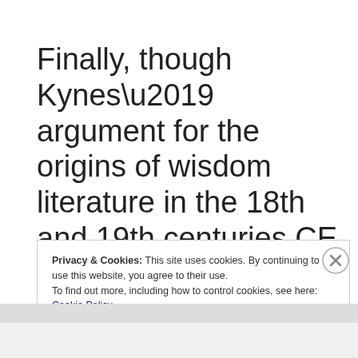Finally, though Kynes' argument for the origins of wisdom literature in the 18th and 19th centuries CE is solid, it is too much to say that “[to] avoid perpetuating the hermeneutical distortions Wisdom
Privacy & Cookies: This site uses cookies. By continuing to use this website, you agree to their use.
To find out more, including how to control cookies, see here: Cookie Policy
Close and accept